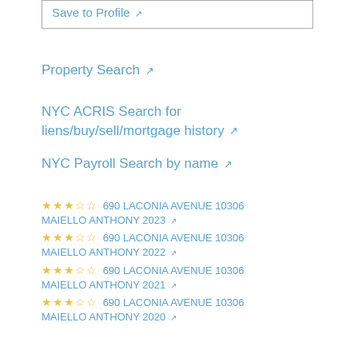Save to Profile ↗
Property Search ↗
NYC ACRIS Search for liens/buy/sell/mortgage history ↗
NYC Payroll Search by name ↗
★★★☆☆ 690 LACONIA AVENUE 10306 MAIELLO ANTHONY 2023 ↗
★★★☆☆ 690 LACONIA AVENUE 10306 MAIELLO ANTHONY 2022 ↗
★★★☆☆ 690 LACONIA AVENUE 10306 MAIELLO ANTHONY 2021 ↗
★★★☆☆ 690 LACONIA AVENUE 10306 MAIELLO ANTHONY 2020 ↗